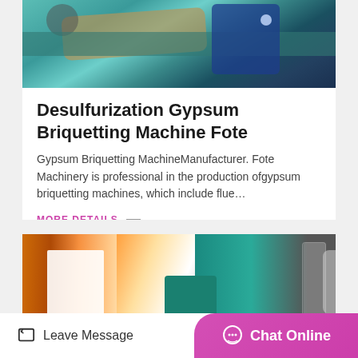[Figure (photo): Industrial briquetting machine with green metal components, rollers, and a blue electric motor]
Desulfurization Gypsum Briquetting Machine Fote
Gypsum Briquetting MachineManufacturer. Fote Machinery is professional in the production ofgypsum briquetting machines, which include flue…
MORE DETAILS
[Figure (photo): Industrial briquetting machine in a factory setting with teal/green equipment and orange structural elements in background]
Leave Message
Chat Online